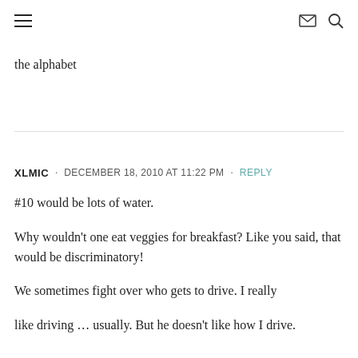≡  ✉  🔍
the alphabet
XLMIC · DECEMBER 18, 2010 AT 11:22 PM · REPLY
#10 would be lots of water.
Why wouldn't one eat veggies for breakfast? Like you said, that would be discriminatory!
We sometimes fight over who gets to drive. I really like driving … usually. But he doesn't like how I drive.